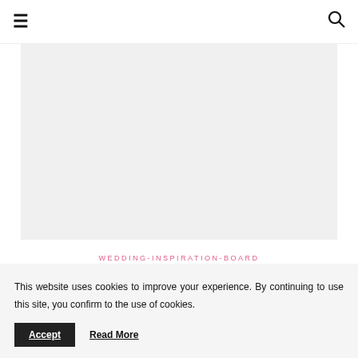≡  🔍
[Figure (photo): Light grey rectangular image placeholder area]
WEDDING-INSPIRATION-BOARD
This website uses cookies to improve your experience. By continuing to use this site, you confirm to the use of cookies.
Accept   Read More